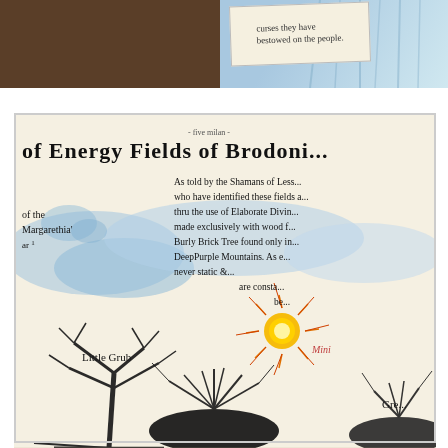[Figure (photo): Top portion: a photograph showing a handwritten card on a dark wooden surface with blue watercolor tree/plant illustrations. The card reads 'curses they have bestowed on the people.']
[Figure (illustration): Bottom portion: a watercolor and ink illustration titled 'Energy Fields of Brodoni...' showing blue watercolor washes representing energy fields, silhouetted black ink tree/plant forms at the bottom, a sun-like orange/yellow starburst shape labeled 'Mini', handwritten text describing shamans who identified these fields through Elaborate Divining made exclusively with wood from the Burly Brick Tree found only in the DeepPurple Mountains, never static, are consta... be..., labels 'of the Margarethia' ar, 'Little Grub', 'Mini', 'Gre...' along the bottom.]